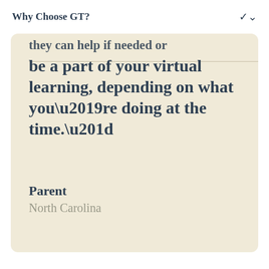Why Choose GT?
they can help if needed or be a part of your virtual learning, depending on what you’re doing at the time.”
Parent
North Carolina